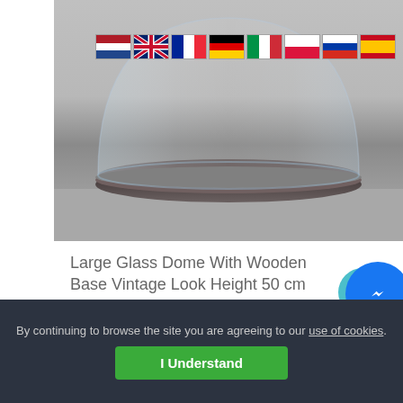[Figure (photo): A large glass dome with a dark wooden base shown on a grey surface. Several country flag icons (Netherlands, UK, France, Germany, Italy, Poland, Russia, Spain) are overlaid in the top right corner of the image.]
Large Glass Dome With Wooden Base Vintage Look Height 50 cm x 40cm
£349.00
By continuing to browse the site you are agreeing to our use of cookies.
I Understand